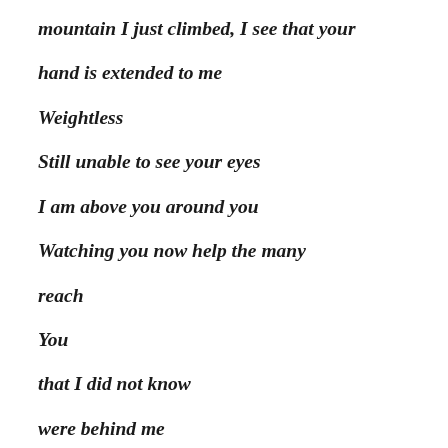mountain I just climbed, I see that your
hand is extended to me
Weightless
Still unable to see your eyes
I am above you around you
Watching you now help the many
reach
You
that I did not know
were behind me